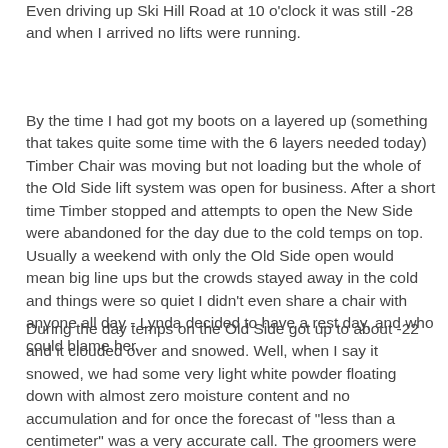Even driving up Ski Hill Road at 10 o'clock it was still -28 and when I arrived no lifts were running.
By the time I had got my boots on a layered up (something that takes quite some time with the 6 layers needed today) Timber Chair was moving but not loading but the whole of the Old Side lift system was open for business. After a short time Timber stopped and attempts to open the New Side were abandoned for the day due to the cold temps on top. Usually a weekend with only the Old Side open would mean big line ups but the crowds stayed away in the cold and things were so quiet I didn't even share a chair with anyone all day - Lynda decided to have a rest day, and who could blame her.
During the day temps on the Old Side got up to about -22 and it clouded over and snowed. Well, when I say it snowed, we had some very light white powder floating down with almost zero moisture content and no accumulation and for once the forecast of "less than a centimeter" was a very accurate call. The groomers were smooth and hard as you can imagine and the cat tracks were about as slippery as